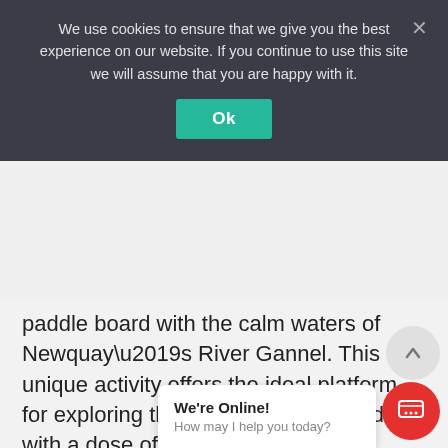We use cookies to ensure that we give you the best experience on our website. If you continue to use this site we will assume that you are happy with it.
Ok
paddle board with the calm waters of Newquay’s River Gannel. This unique activity offers the ideal platform for exploring the river wildlife coupled with a dose of adrenaline!
About this lesson
Gather your family and friends for 2 hours of adventure crashing waves of Newquay’s
We’re Online! How may I help you today?